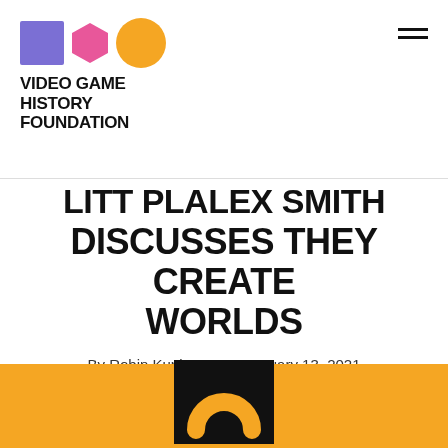[Figure (logo): Video Game History Foundation logo with purple square, pink hexagon, and orange circle shapes, followed by bold all-caps text 'VIDEO GAME HISTORY FOUNDATION']
LITT PLALEX SMITH DISCUSSES THEY CREATE WORLDS
By Robin Kunimune · January 13, 2021
[Figure (logo): They Create Worlds (TCW) logo on orange/yellow background — black square with orange arch/horseshoe symbol inside, partially visible at bottom of page]